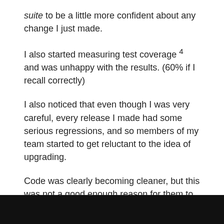suite to be a little more confident about any change I just made.
I also started measuring test coverage 4 and was unhappy with the results. (60% if I recall correctly)
I also noticed that even though I was very careful, every release I made had some serious regressions, and so members of my team started to get reluctant to the idea of upgrading.
Code was clearly becoming cleaner, but this was not a good enough reason for them to upgrade.
The Light At The End of the Tunnel #
[Figure (photo): Black bar/image at the bottom of the page]